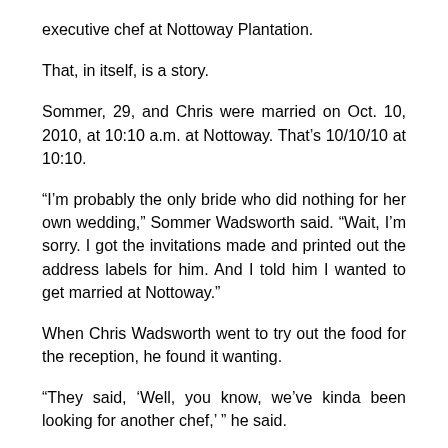executive chef at Nottoway Plantation.
That, in itself, is a story.
Sommer, 29, and Chris were married on Oct. 10, 2010, at 10:10 a.m. at Nottoway. That’s 10/10/10 at 10:10.
“I’m probably the only bride who did nothing for her own wedding,” Sommer Wadsworth said. “Wait, I’m sorry. I got the invitations made and printed out the address labels for him. And I told him I wanted to get married at Nottoway.”
When Chris Wadsworth went to try out the food for the reception, he found it wanting.
“They said, ‘Well, you know, we’ve kinda been looking for another chef,’ ” he said.